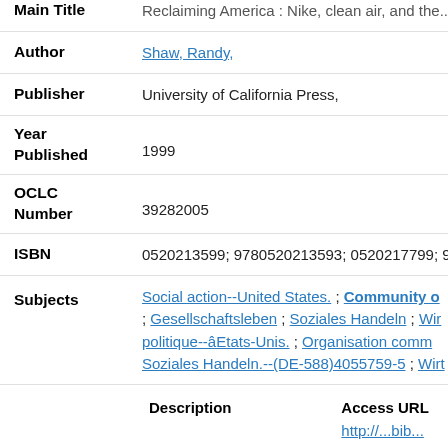Main Title: Reclaiming America: Nike, clean air, and the...
Author: Shaw, Randy,
Publisher: University of California Press,
Year Published: 1999
OCLC Number: 39282005
ISBN: 0520213599; 9780520213593; 0520217799; 9...
Subjects: Social action--United States. ; Community o... ; Gesellschaftsleben ; Soziales Handeln ; Wir... politique--âEtats-Unis. ; Organisation comm... Soziales Handeln.--(DE-588)4055759-5 ; Wirt...
| Description | Access URL |
| --- | --- |
|  | http://... |